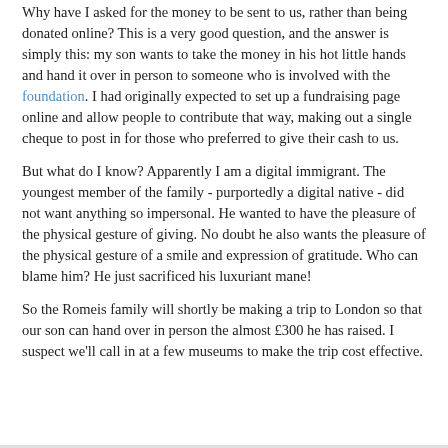Why have I asked for the money to be sent to us, rather than being donated online? This is a very good question, and the answer is simply this: my son wants to take the money in his hot little hands and hand it over in person to someone who is involved with the foundation. I had originally expected to set up a fundraising page online and allow people to contribute that way, making out a single cheque to post in for those who preferred to give their cash to us.
But what do I know? Apparently I am a digital immigrant. The youngest member of the family - purportedly a digital native - did not want anything so impersonal. He wanted to have the pleasure of the physical gesture of giving. No doubt he also wants the pleasure of the physical gesture of a smile and expression of gratitude. Who can blame him? He just sacrificed his luxuriant mane!
So the Romeis family will shortly be making a trip to London so that our son can hand over in person the almost £300 he has raised. I suspect we'll call in at a few museums to make the trip cost effective.